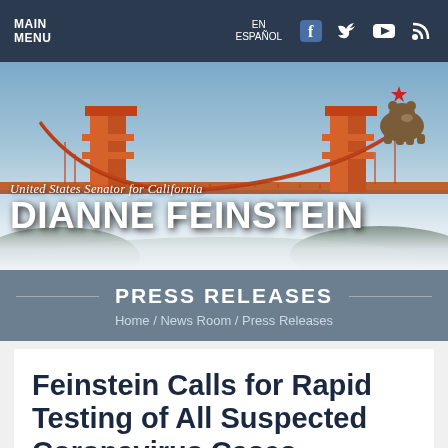MAIN MENU  EN ESPAÑOL
[Figure (photo): Hero banner with Golden Gate Bridge background, California bear silhouette with red star, and text 'United States Senator for California' and 'DIANNE FEINSTEIN']
PRESS RELEASES
Home / News Room / Press Releases
Feinstein Calls for Rapid Testing of All Suspected Coronavirus Cases